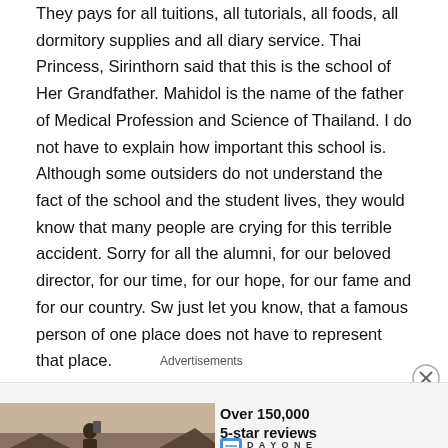They pays for all tuitions, all tutorials, all foods, all dormitory supplies and all diary service. Thai Princess, Sirinthorn said that this is the school of Her Grandfather. Mahidol is the name of the father of Medical Profession and Science of Thailand. I do not have to explain how important this school is. Although some outsiders do not understand the fact of the school and the student lives, they would know that many people are crying for this terrible accident. Sorry for all the alumni, for our beloved director, for our time, for our hope, for our fame and for our country. Sw just let you know, that a famous person of one place does not have to represent that place.
Advertisements
[Figure (infographic): Advertisement banner showing 'Over 150,000 5-star reviews' for DAY ONE JOURNAL app, with a photo of a person taking a picture at sunset]